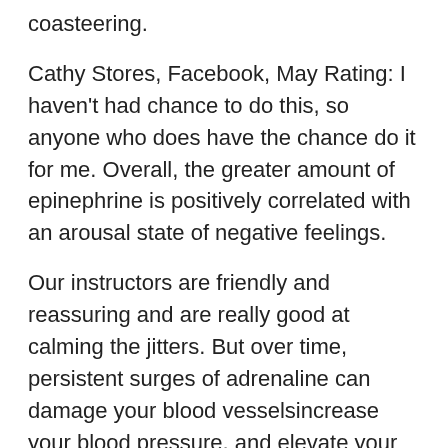coasteering.
Cathy Stores, Facebook, May Rating: I haven't had chance to do this, so anyone who does have the chance do it for me. Overall, the greater amount of epinephrine is positively correlated with an arousal state of negative feelings.
Our instructors are friendly and reassuring and are really good at calming the jitters. But over time, persistent surges of adrenaline can damage your blood vesselsincrease your blood pressure, and elevate your risk of heart attacks or stroke.
I know it's adrenaline but I'm wondering if it's normal to have that much of a strength increase from something not life threatening. I jumped up a large rock when being chased. Adrenaline is a natural hormone that is